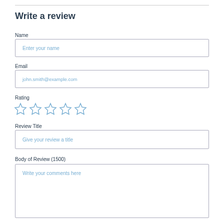Write a review
Name
Enter your name
Email
john.smith@example.com
Rating
[Figure (other): Five empty star rating icons in a row]
Review Title
Give your review a title
Body of Review (1500)
Write your comments here